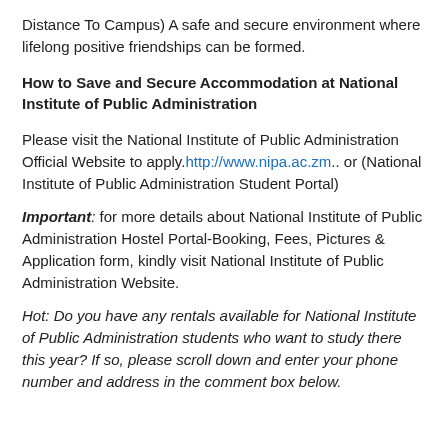Distance To Campus) A safe and secure environment where lifelong positive friendships can be formed.
How to Save and Secure Accommodation at National Institute of Public Administration
Please visit the National Institute of Public Administration Official Website to apply.http://www.nipa.ac.zm.. or (National Institute of Public Administration Student Portal)
Important: for more details about National Institute of Public Administration Hostel Portal-Booking, Fees, Pictures & Application form, kindly visit National Institute of Public Administration Website.
Hot: Do you have any rentals available for National Institute of Public Administration students who want to study there this year? If so, please scroll down and enter your phone number and address in the comment box below.